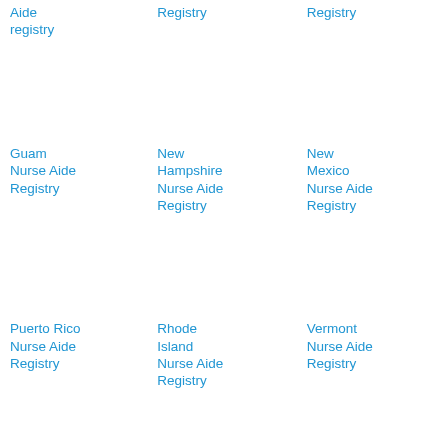Aide registry
Registry
Registry
Guam Nurse Aide Registry
New Hampshire Nurse Aide Registry
New Mexico Nurse Aide Registry
Puerto Rico Nurse Aide Registry
Rhode Island Nurse Aide Registry
Vermont Nurse Aide Registry